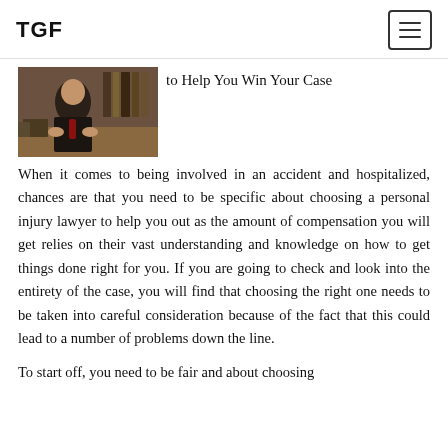TGF
[Figure (photo): A lawyer or professional seated at a desk with books, wearing a suit and red tie, viewed from the front]
to Help You Win Your Case
When it comes to being involved in an accident and hospitalized, chances are that you need to be specific about choosing a personal injury lawyer to help you out as the amount of compensation you will get relies on their vast understanding and knowledge on how to get things done right for you. If you are going to check and look into the entirety of the case, you will find that choosing the right one needs to be taken into careful consideration because of the fact that this could lead to a number of problems down the line.
To start off, you need to be fair and about choosing